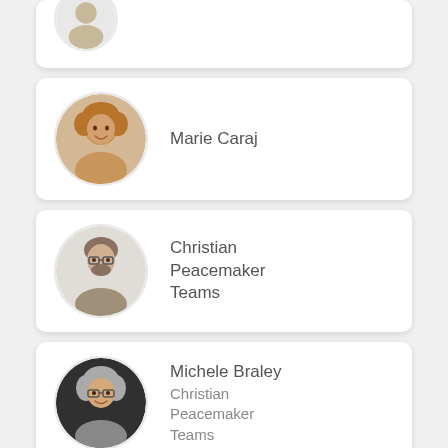[Figure (photo): Partial card at top of page, cropped]
Marie Caraj
Christian Peacemaker Teams
Michele Braley Christian Peacemaker Teams
Saira Hamidi Urgent Action Fund for Women's